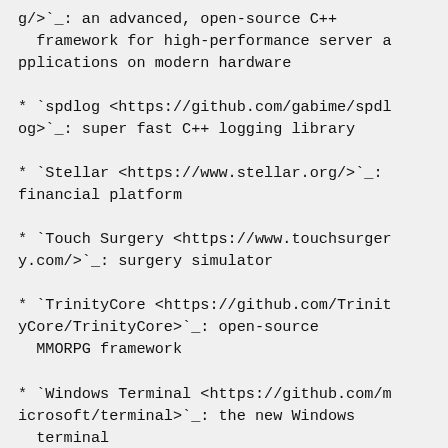g/>`_: an advanced, open-source C++ framework for high-performance server applications on modern hardware
* `spdlog <https://github.com/gabime/spdlog>`_: super fast C++ logging library
* `Stellar <https://www.stellar.org/>`_: financial platform
* `Touch Surgery <https://www.touchsurgery.com/>`_: surgery simulator
* `TrinityCore <https://github.com/TrinityCore/TrinityCore>`_: open-source MMORPG framework
* `Windows Terminal <https://github.com/microsoft/terminal>`_: the new Windows terminal